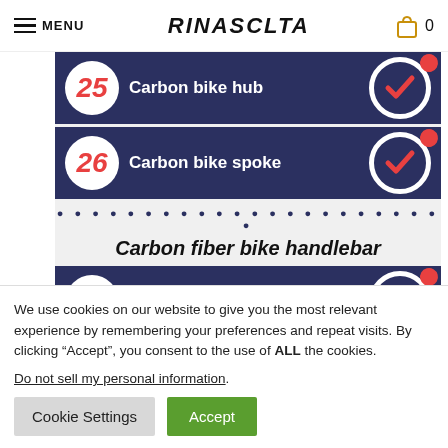MENU | RINASCLTA | 0
[Figure (infographic): Dark navy numbered list items for carbon bike parts. Item 25: Carbon bike hub with red checkmark. Item 26: Carbon bike spoke with red checkmark. Dotted separator. Section title: Carbon fiber bike handlebar. Item 27: Road bike drop handlebar with red checkmark.]
We use cookies on our website to give you the most relevant experience by remembering your preferences and repeat visits. By clicking “Accept”, you consent to the use of ALL the cookies.
Do not sell my personal information.
Cookie Settings | Accept